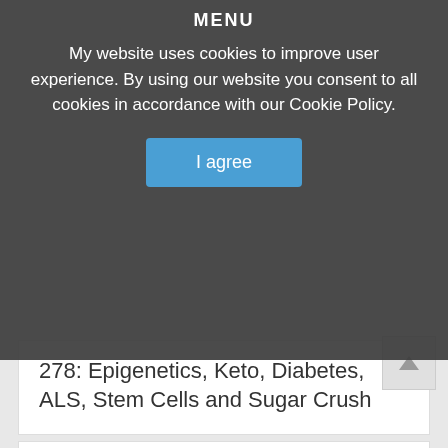MENU
My website uses cookies to improve user experience. By using our website you consent to all cookies in accordance with our Cookie Policy.
I agree
278: Epigenetics, Keto, Diabetes, ALS, Stem Cells and Sugar Crush
272: Broken Back to Bronze Medal and My Doctor Suggests Silver